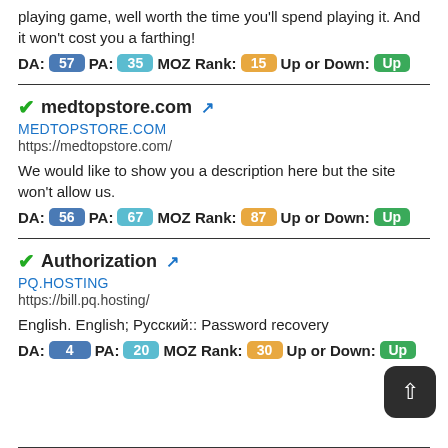playing game, well worth the time you'll spend playing it. And it won't cost you a farthing!
DA: 57 PA: 35 MOZ Rank: 15 Up or Down: Up
medtopstore.com
MEDTOPSTORE.COM
https://medtopstore.com/
We would like to show you a description here but the site won't allow us.
DA: 56 PA: 67 MOZ Rank: 87 Up or Down: Up
Authorization
PQ.HOSTING
https://bill.pq.hosting/
English. English; Русский:: Password recovery
DA: 4 PA: 20 MOZ Rank: 30 Up or Down: Up